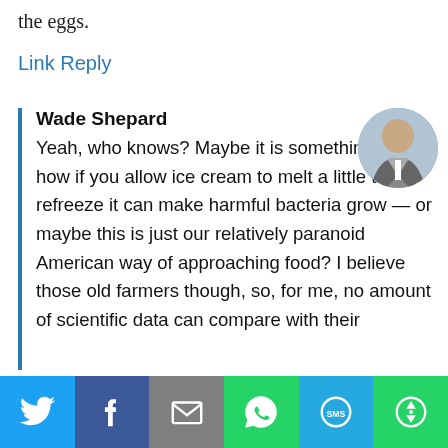the eggs.
Link Reply
Wade Shepard
Yeah, who knows? Maybe it is something like how if you allow ice cream to melt a little then refreeze it can make harmful bacteria grow — or maybe this is just our relatively paranoid American way of approaching food? I believe those old farmers though, so, for me, no amount of scientific data can compare with their
[Figure (photo): Circular avatar photo of Wade Shepard, a man in a grey suit standing in front of a blue/grey background]
[Figure (infographic): Social sharing bar with icons for Twitter (blue), Facebook (dark blue), Email (grey), WhatsApp (green), SMS (light blue), and More (green)]